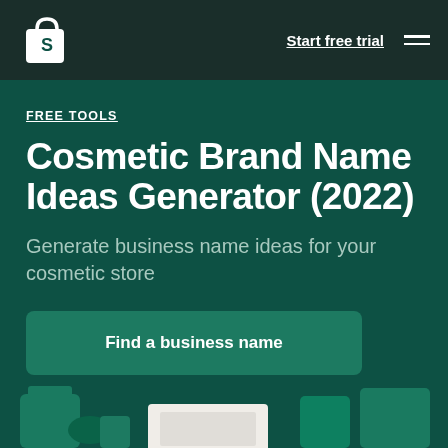[Figure (logo): Shopify logo — white shopping bag with S letter]
Start free trial
FREE TOOLS
Cosmetic Brand Name Ideas Generator (2022)
Generate business name ideas for your cosmetic store
Find a business name
[Figure (illustration): Decorative illustration of cosmetic products at the bottom of the page]